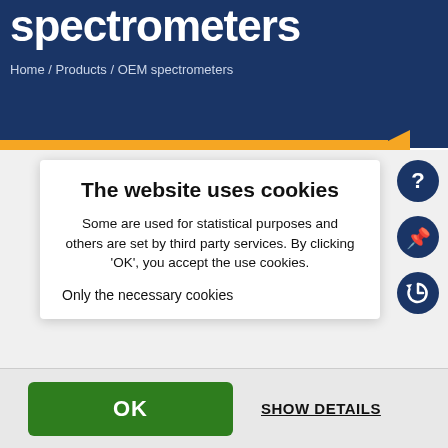spectrometers
Home / Products / OEM spectrometers
[Figure (screenshot): Cookie consent dialog overlay on a website for spectrometers. Contains title 'The website uses cookies', descriptive text about statistical and third party cookies, 'Only the necessary cookies' link, an OK green button, and a SHOW DETAILS link. Right sidebar shows three circular icons: help (?), pin, and history.]
The website uses cookies
Some are used for statistical purposes and others are set by third party services. By clicking 'OK', you accept the use cookies.
Only the necessary cookies
OK
SHOW DETAILS